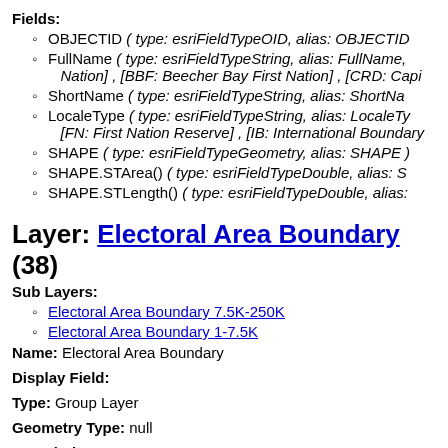Fields:
OBJECTID ( type: esriFieldTypeOID, alias: OBJECTID
FullName ( type: esriFieldTypeString, alias: FullName, Nation] , [BBF: Beecher Bay First Nation] , [CRD: Capi
ShortName ( type: esriFieldTypeString, alias: ShortNa
LocaleType ( type: esriFieldTypeString, alias: LocaleTy [FN: First Nation Reserve] , [IB: International Boundary
SHAPE ( type: esriFieldTypeGeometry, alias: SHAPE )
SHAPE.STArea() ( type: esriFieldTypeDouble, alias: S
SHAPE.STLength() ( type: esriFieldTypeDouble, alias:
Layer: Electoral Area Boundary (38)
Sub Layers:
Electoral Area Boundary 7.5K-250K
Electoral Area Boundary 1-7.5K
Name: Electoral Area Boundary
Display Field:
Type: Group Layer
Geometry Type: null
Description: